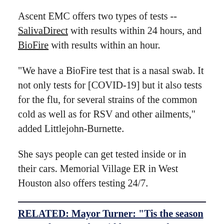Ascent EMC offers two types of tests -- SalivaDirect with results within 24 hours, and BioFire with results within an hour.
"We have a BioFire test that is a nasal swab. It not only tests for [COVID-19] but it also tests for the flu, for several strains of the common cold as well as for RSV and other ailments," added Littlejohn-Burnette.
She says people can get tested inside or in their cars. Memorial Village ER in West Houston also offers testing 24/7.
RELATED: Mayor Turner: "Tis the season to stay home and avoid large crowds'
"We offer a rapid test and a PCR test. The rapid test we've been resulting in 2-3 hours and then the PCR